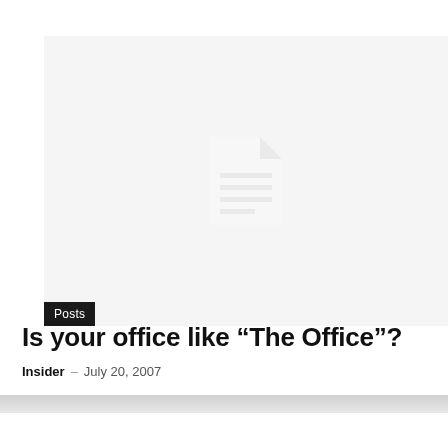[Figure (illustration): Light gray placeholder image area with a faint document/file icon centered in the middle. A black 'Posts' badge label sits at the bottom-left corner of the image.]
Is your office like “The Office”?
Insider – July 20, 2007